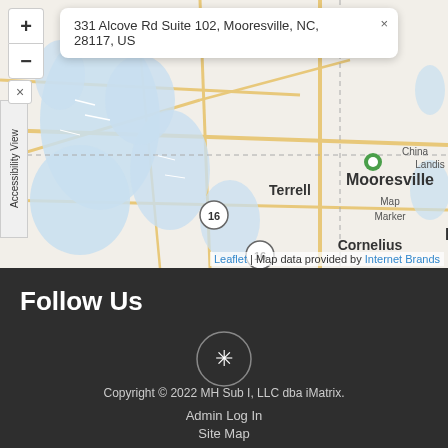[Figure (map): Interactive street map showing Mooresville, NC area with a green map marker and address popup reading '331 Alcove Rd Suite 102, Mooresville, NC, 28117, US'. Map shows Lake Norman area with towns including Terrell, Mooresville, China Grove, Landis, Cornelius, Kannapolis. Zoom controls (+/-) visible top-left. Leaflet map attribution at bottom.]
Leaflet | Map data provided by Internet Brands
Follow Us
[Figure (logo): Yelp logo icon — asterisk/star symbol inside a circle, outlined in gray on dark background]
Copyright © 2022 MH Sub I, LLC dba iMatrix.
Admin Log In
Site Map